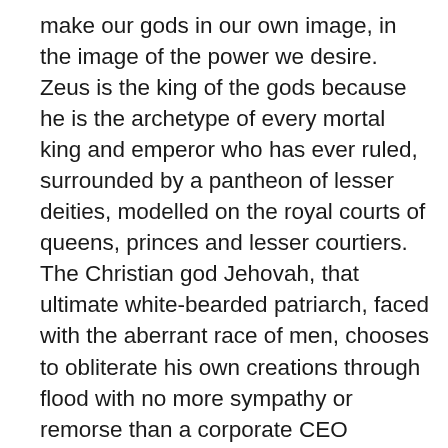make our gods in our own image, in the image of the power we desire. Zeus is the king of the gods because he is the archetype of every mortal king and emperor who has ever ruled, surrounded by a pantheon of lesser deities, modelled on the royal courts of queens, princes and lesser courtiers. The Christian god Jehovah, that ultimate white-bearded patriarch, faced with the aberrant race of men, chooses to obliterate his own creations through flood with no more sympathy or remorse than a corporate CEO downsizing his work force. Beautiful Ishtar was goddess of both love and war, a sacred whore who used both sex and violence to rule over men, as potent a symbol to her Babylonian followers as a prima donna pop star or Hollywood A-List actress today. Gods do not just